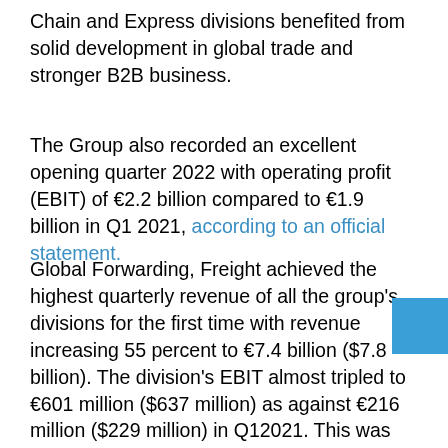Chain and Express divisions benefited from solid development in global trade and stronger B2B business.
The Group also recorded an excellent opening quarter 2022 with operating profit (EBIT) of €2.2 billion compared to €1.9 billion in Q1 2021, according to an official statement.
Global Forwarding, Freight achieved the highest quarterly revenue of all the group's divisions for the first time with revenue increasing 55 percent to €7.4 billion ($7.8 billion). The division's EBIT almost tripled to €601 million ($637 million) as against €216 million ($229 million) in Q12021. This was mainly due to further intensifying price and margin dynamics in the international
[Figure (illustration): Solid blue square decorative element]